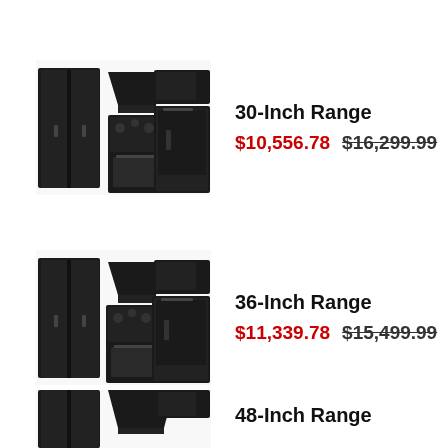[Figure (photo): Black kitchen appliance set with refrigerator, range hood, microwave, range, and dishwasher - 30-Inch Range]
30-Inch Range
$10,556.78  $16,299.99
[Figure (photo): Black kitchen appliance set with refrigerator, range hood, microwave, range, and dishwasher - 36-Inch Range]
36-Inch Range
$11,339.78  $15,499.99
[Figure (photo): Black kitchen appliance set - 48-Inch Range (partially visible)]
48-Inch Range